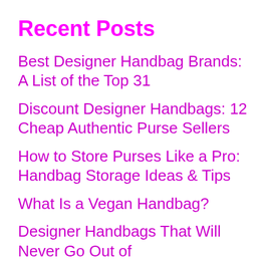Recent Posts
Best Designer Handbag Brands: A List of the Top 31
Discount Designer Handbags: 12 Cheap Authentic Purse Sellers
How to Store Purses Like a Pro: Handbag Storage Ideas & Tips
What Is a Vegan Handbag?
Designer Handbags That Will Never Go Out of Style